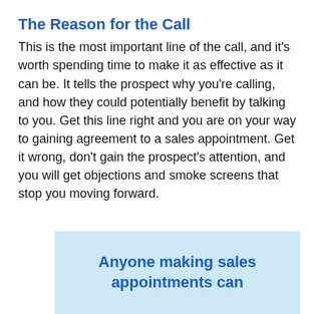The Reason for the Call
This is the most important line of the call, and it's worth spending time to make it as effective as it can be. It tells the prospect why you're calling, and how they could potentially benefit by talking to you. Get this line right and you are on your way to gaining agreement to a sales appointment. Get it wrong, don't gain the prospect's attention, and you will get objections and smoke screens that stop you moving forward.
Anyone making sales appointments can